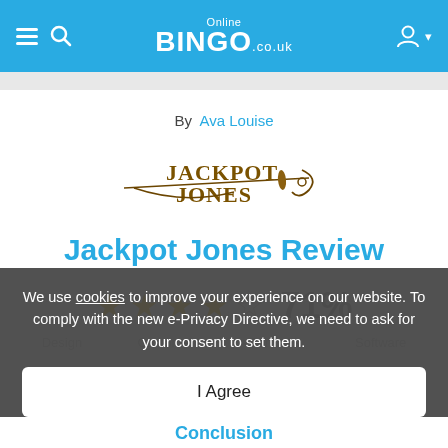Online BINGO.co.uk
By Ava Louise
[Figure (logo): Jackpot Jones logo with sword and gold lettering]
Jackpot Jones Review
[Figure (other): 4 filled stars and 1 empty star rating with 71% score. Categories: Design, Customer, Bonuses, Software]
We use cookies to improve your experience on our website. To comply with the new e-Privacy Directive, we need to ask for your consent to set them.
I Agree
Conclusion